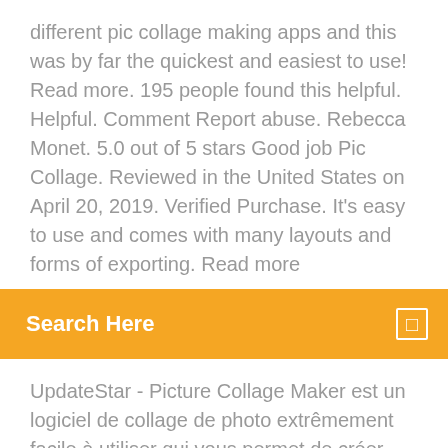different pic collage making apps and this was by far the quickest and easiest to use! Read more. 195 people found this helpful. Helpful. Comment Report abuse. Rebecca Monet. 5.0 out of 5 stars Good job Pic Collage. Reviewed in the United States on April 20, 2019. Verified Purchase. It's easy to use and comes with many layouts and forms of exporting. Read more
Search Here
UpdateStar - Picture Collage Maker est un logiciel de collage de photo extrêmement facile à utiliser qui vous permet de créer divertissant collage photo avec vos photos numériques ou de photos.Vous pouvez sélectionner une photo préférée comme toile de … Picture Collage Maker - Descargar Picture Collage Maker es un editor de imágenes especializado en crear composiciones fotográficas o collages. El procedimiento para crear tus propias obras con Picture Collage Maker no tiene gran complicación ya que está guiado mediante pasos. En el primero